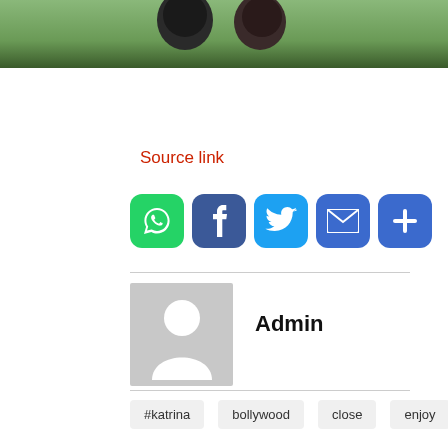[Figure (photo): Partial photo of two people (heads visible) against a green outdoor background]
Source link
[Figure (infographic): Social share buttons: WhatsApp (green), Facebook (blue), Twitter (light blue), Email (blue), Plus/More (blue)]
[Figure (illustration): Admin author avatar placeholder: gray box with white person silhouette icon]
Admin
#katrina   bollywood   close   enjoy